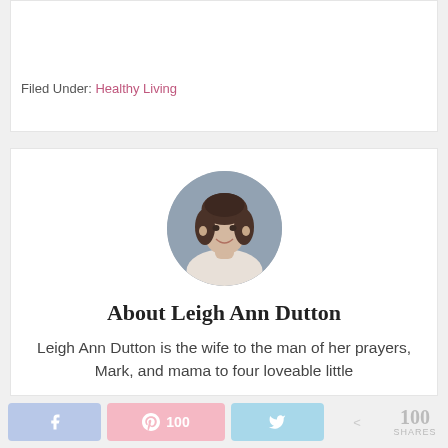Filed Under: Healthy Living
[Figure (photo): Circular profile photo of Leigh Ann Dutton, a woman with short brown hair, smiling, wearing a light top against a blurred gray background.]
About Leigh Ann Dutton
Leigh Ann Dutton is the wife to the man of her prayers, Mark, and mama to four loveable little
100 SHARES